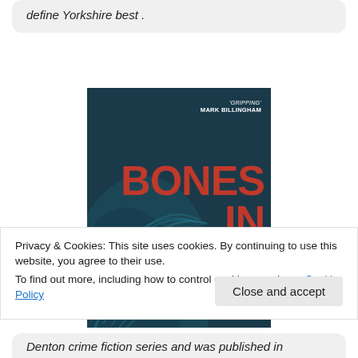define Yorkshire best .
[Figure (illustration): Book cover of 'Bones in the Nest' with a blurb 'GRIPPING' MARK BILLINGHAM. Dark teal background with feather/wing textures and large red bold title text reading BONES IN THE NEST.]
Privacy & Cookies: This site uses cookies. By continuing to use this website, you agree to their use.
To find out more, including how to control cookies, see here: Cookie Policy
Denton crime fiction series and was published in